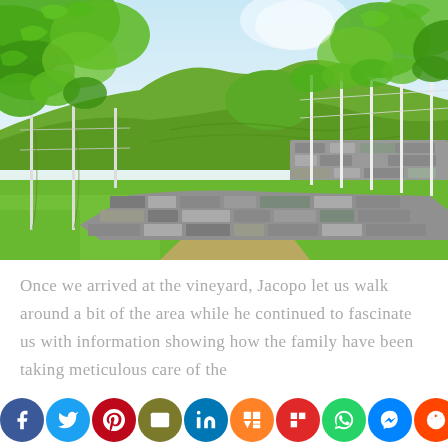[Figure (photo): A vineyard with rows of grapevines trained on stakes, with a stone retaining wall in the middle ground and terraced green hillsides in the background under a bright sky.]
Once we arrived at the vineyard, Jacopo let us walk around a bit of the area while he continued to fascinate us with information showing how the family have been taking meticulous care of the
[Figure (infographic): Social media sharing bar with icons: Facebook (blue), Twitter (cyan), Pinterest (red), Email (olive/dark yellow), LinkedIn (blue), Mix (orange), Flipboard (red), WhatsApp (green), Messenger (blue), Reddit (orange-red), Share (dark gray).]